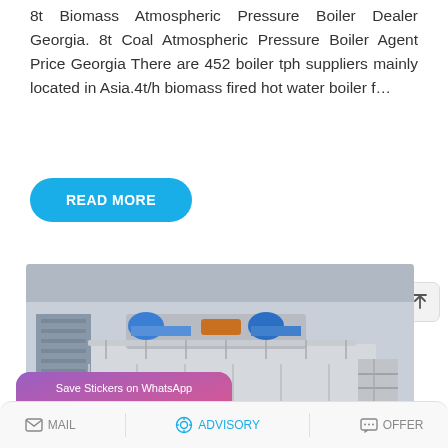8t Biomass Atmospheric Pressure Boiler Dealer Georgia. 8t Coal Atmospheric Pressure Boiler Agent Price Georgia There are 452 boiler tph suppliers mainly located in Asia.4t/h biomass fired hot water boiler f…
[Figure (screenshot): Blue rounded rectangle button with white bold text 'READ MORE']
[Figure (photo): Industrial biomass/coal atmospheric pressure boiler installed inside a large industrial building, showing metal structure, pipes, and staircase access]
[Figure (screenshot): Overlay panel showing 'Save Stickers on WhatsApp' with phone and emoji icons on a pink/purple gradient background]
MAIL   ADVISORY   OFFER